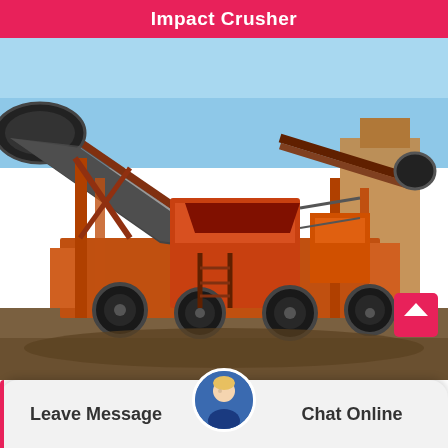Impact Crusher
[Figure (photo): Photograph of an orange industrial impact crusher machine with conveyor belts, metal frame structure, and wheels, set outdoors on a dirt surface under a blue sky.]
Leave Message
Chat Online